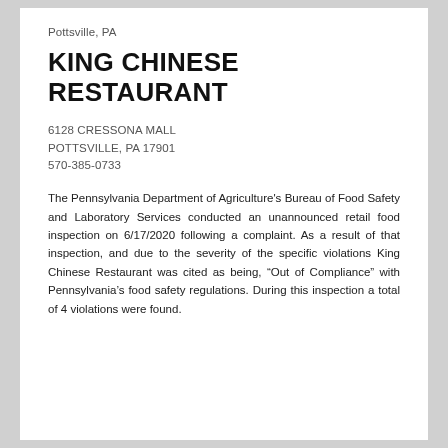Pottsville, PA
KING CHINESE RESTAURANT
6128 CRESSONA MALL
POTTSVILLE, PA 17901
570-385-0733
The Pennsylvania Department of Agriculture's Bureau of Food Safety and Laboratory Services conducted an unannounced retail food inspection on 6/17/2020 following a complaint. As a result of that inspection, and due to the severity of the specific violations King Chinese Restaurant was cited as being, “Out of Compliance” with Pennsylvania’s food safety regulations. During this inspection a total of 4 violations were found.